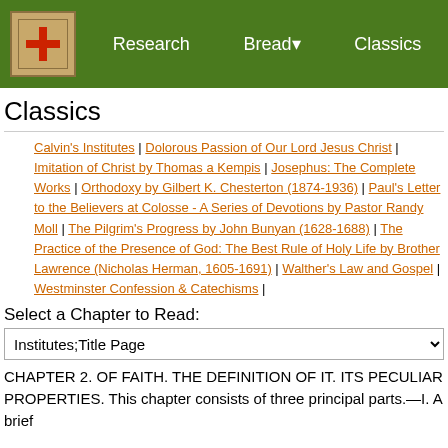Research | Bread | Classics
Classics
Calvin's Institutes | Dolorous Passion of Our Lord Jesus Christ | Imitation of Christ by Thomas a Kempis | Josephus: The Complete Works | Orthodoxy by Gilbert K. Chesterton (1874-1936) | Paul's Letter to the Believers at Colosse - A Series of Devotions by Pastor Randy Moll | The Pilgrim's Progress by John Bunyan (1628-1688) | The Practice of the Presence of God: The Best Rule of Holy Life by Brother Lawrence (Nicholas Herman, 1605-1691) | Walther's Law and Gospel | Westminster Confession & Catechisms |
Select a Chapter to Read:
Institutes;Title Page
CHAPTER 2. OF FAITH. THE DEFINITION OF IT. ITS PECULIAR PROPERTIES. This chapter consists of three principal parts.—I. A brief